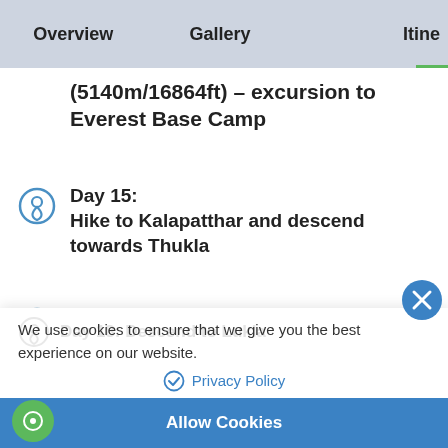Overview   Gallery   Itine...
(5140m/16864ft) – excursion to Everest Base Camp
Day 15: Hike to Kalapatthar and descend towards Thukla
Day 16: Descend towards Phunke Tenga
We use cookies to ensure that we give you the best experience on our website.
Privacy Policy
Allow Cookies